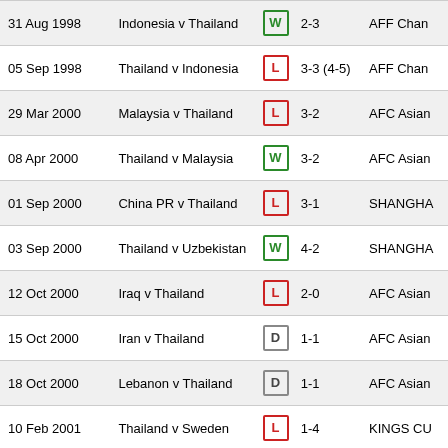| Date | Match | Result | Score | Competition |
| --- | --- | --- | --- | --- |
| 31 Aug 1998 | Indonesia v Thailand | W | 2-3 | AFF Chan |
| 05 Sep 1998 | Thailand v Indonesia | L | 3-3 (4-5) | AFF Chan |
| 29 Mar 2000 | Malaysia v Thailand | L | 3-2 | AFC Asian |
| 08 Apr 2000 | Thailand v Malaysia | W | 3-2 | AFC Asian |
| 01 Sep 2000 | China PR v Thailand | L | 3-1 | SHANGHA |
| 03 Sep 2000 | Thailand v Uzbekistan | W | 4-2 | SHANGHA |
| 12 Oct 2000 | Iraq v Thailand | L | 2-0 | AFC Asian |
| 15 Oct 2000 | Iran v Thailand | D | 1-1 | AFC Asian |
| 18 Oct 2000 | Lebanon v Thailand | D | 1-1 | AFC Asian |
| 10 Feb 2001 | Thailand v Sweden | L | 1-4 | KINGS CU |
| 20 Dec 2002 | Thailand v Malaysia | L | 1-3 | AFF Chan |
| 20 Feb 2003 | Thailand v Sweden | L | 1-4 | KINGS CU |
| 31 Mar 2004 | Yemen v Thailand | W | 0-3 | FIFA Worl |
| 08 Sep 2004 | Korea DPR v Thailand | L | 4-1 | FIFA Worl |
| 13 Oct 2004 | Thailand v United Arab Emirates | W | 3-0 | FIFA Worl |
| 17 Nov 2004 | Thailand v Yemen | D | 1-1 | FIFA Worl |
| 30 Nov 2004 | Thailand v Estonia | W | 0-0 (4-3) | KINGS CU |